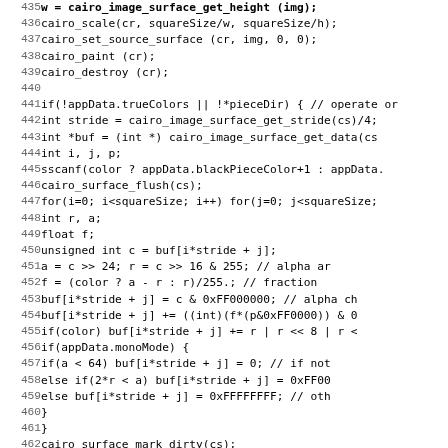[Figure (other): Source code listing in C showing lines 435-467, including cairo drawing operations, pixel buffer manipulation with stride calculations, color/alpha processing loops, mono mode handling, and the beginning of a CreatePNGPieces function.]